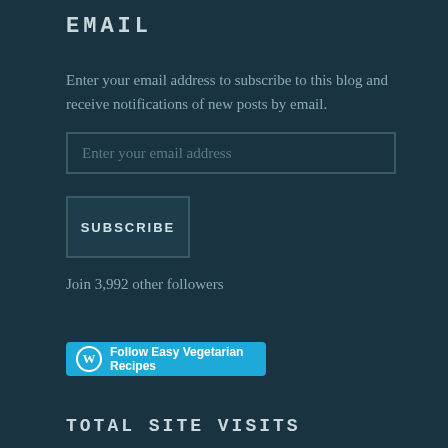EMAIL
Enter your email address to subscribe to this blog and receive notifications of new posts by email.
Enter your email address
SUBSCRIBE
Join 3,992 other followers
Follow Easy Vegetarian Recipes
TOTAL SITE VISITS